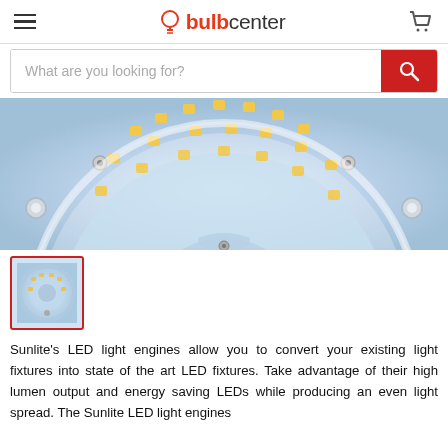bulbcenter
What are you looking for?
[Figure (photo): Close-up top-down view of a circular LED light engine with multiple yellow LED chips arranged in a ring on a blue-tinted PCB board with a clear/white housing]
[Figure (photo): Small thumbnail image of the LED light engine product, selected (red border)]
Sunlite's LED light engines allow you to convert your existing light fixtures into state of the art LED fixtures. Take advantage of their high lumen output and energy saving LEDs while producing an even light spread. The Sunlite LED light engines